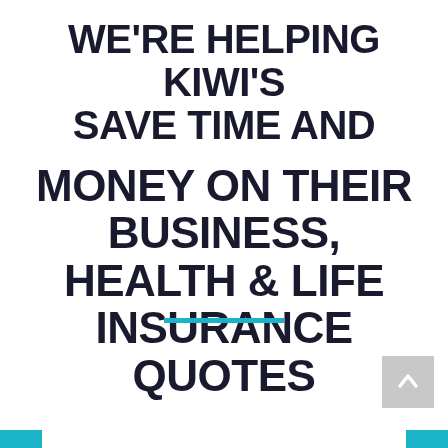WE'RE HELPING KIWI'S SAVE TIME AND MONEY ON THEIR BUSINESS, HEALTH & LIFE INSURANCE QUOTES